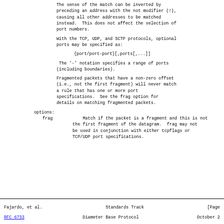The sense of the match can be inverted by preceding an address with the not modifier (!), causing all other addresses to be matched instead.  This does not affect the selection of port numbers.
With the TCP, UDP, and SCTP protocols, optional ports may be specified as:
{port/port-port}[,ports[,...]]
The '-' notation specifies a range of ports (including boundaries).
Fragmented packets that have a non-zero offset (i.e., not the first fragment) will never match a rule that has one or more port specifications.  See the frag option for details on matching fragmented packets.
options:
    frag    Match if the packet is a fragment and this is not the first fragment of the datagram.  frag may not be used in conjunction with either tcpflags or TCP/UDP port specifications.
Fajardo, et al.                Standards Track                          [Page
RFC 6733                    Diameter Base Protocol                  October 2